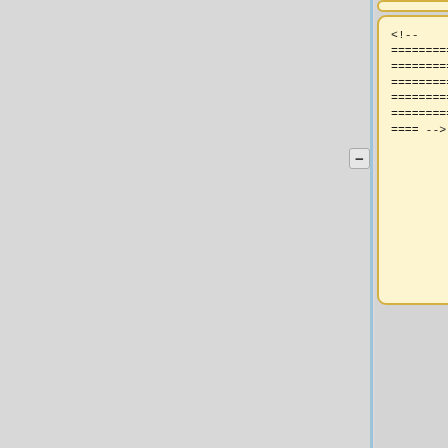[Figure (screenshot): Diff view showing two-column comparison of wiki/HTML source code changes. Left column (yellow boxes) shows old/removed content including HTML comments with equals signs, a header title comment, a tr bgcolor element, and a th element. Right column (blue boxes) shows new/added content including a wiki link to geos-chem.org/geos-steering-cmte, a description of GCSC member listings and meeting minutes, a valign top table row, GEOS-Chem Working Groups bold text, and a partial geos- link. Minus and plus buttons flank the diff rows.]